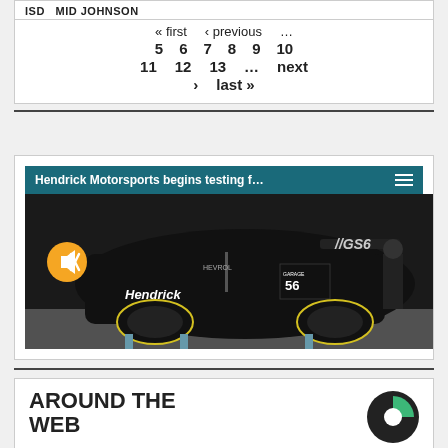ISD   MID JOHNSON
« first   ‹ previous   …
5   6   7   8   9   10
11   12   13   …   next
›   last »
[Figure (screenshot): Video player screenshot showing Hendrick Motorsports Garage 56 racing car being tested, with teal title bar reading 'Hendrick Motorsports begins testing f…' and a hamburger menu icon, plus a yellow mute button overlay]
AROUND THE WEB